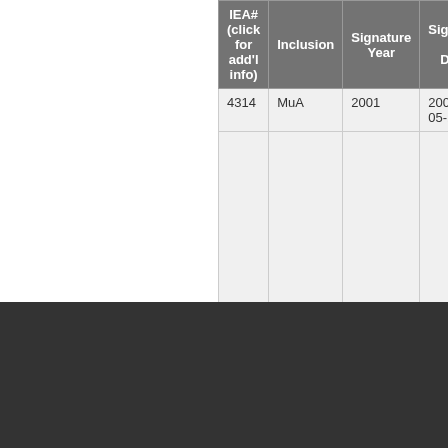| IEA# (click for add'l info) | Inclusion | Signature Year | Signature Date |
| --- | --- | --- | --- |
| 4314 | MuA | 2001 | 2001-05-13 |
Select Language (dropdown) | Powered by Google Translate
Citations required for use of IEADB data: Data from Ronald B. Mitchell. 2002-